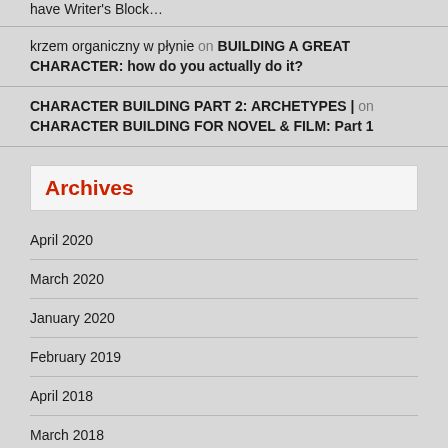krzem organiczny w płynie on BUILDING A GREAT CHARACTER: how do you actually do it?
CHARACTER BUILDING PART 2: ARCHETYPES | on CHARACTER BUILDING FOR NOVEL & FILM: Part 1
Archives
April 2020
March 2020
January 2020
February 2019
April 2018
March 2018